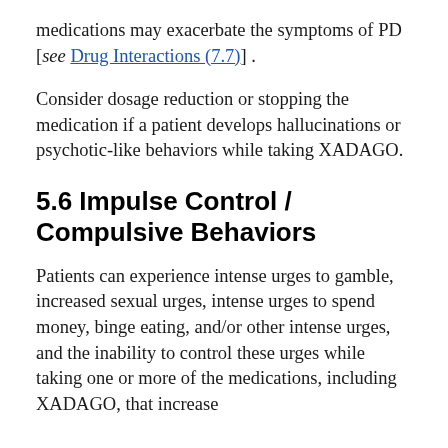medications may exacerbate the symptoms of PD [see Drug Interactions (7.7)] .
Consider dosage reduction or stopping the medication if a patient develops hallucinations or psychotic-like behaviors while taking XADAGO.
5.6 Impulse Control / Compulsive Behaviors
Patients can experience intense urges to gamble, increased sexual urges, intense urges to spend money, binge eating, and/or other intense urges, and the inability to control these urges while taking one or more of the medications, including XADAGO, that increase